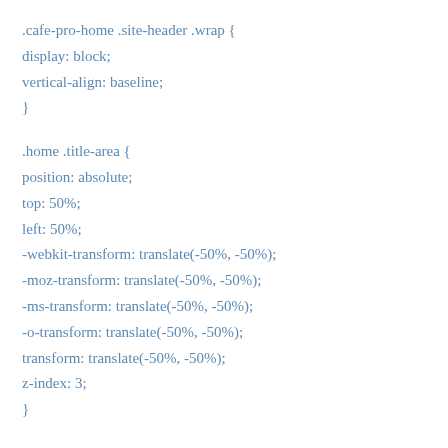.cafe-pro-home .site-header .wrap {
display: block;
vertical-align: baseline;
}

.home .title-area {
position: absolute;
top: 50%;
left: 50%;
-webkit-transform: translate(-50%, -50%);
-moz-transform: translate(-50%, -50%);
-ms-transform: translate(-50%, -50%);
-o-transform: translate(-50%, -50%);
transform: translate(-50%, -50%);
z-index: 3;
}